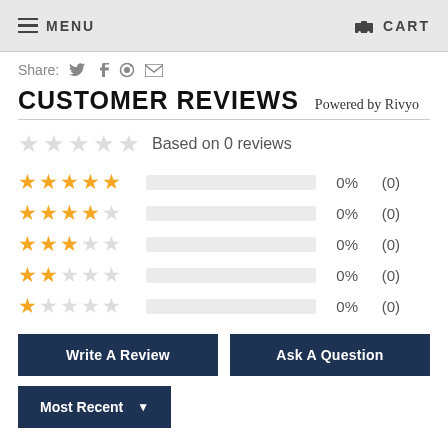MENU  CART
Share:
CUSTOMER REVIEWS  Powered by Rivyo
Based on 0 reviews
| Stars | Bar | Percent | Count |
| --- | --- | --- | --- |
| 5 stars |  | 0% | (0) |
| 4 stars |  | 0% | (0) |
| 3 stars |  | 0% | (0) |
| 2 stars |  | 0% | (0) |
| 1 star |  | 0% | (0) |
Write A Review
Ask A Question
Most Recent